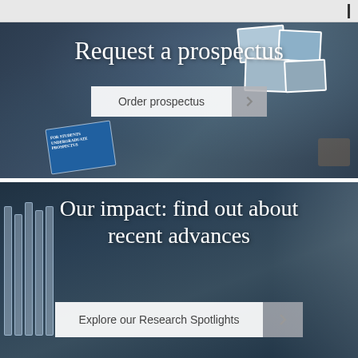[Figure (photo): Person holding university prospectus brochures with a coffee cup in the background, dark blue overlay]
Request a prospectus
Order prospectus
[Figure (photo): Female scientist in hijab and lab coat working with laboratory equipment, dark blue overlay]
Our impact: find out about recent advances
Explore our Research Spotlights